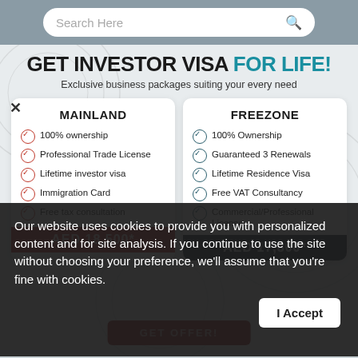Search Here
GET INVESTOR VISA FOR LIFE!
Exclusive business packages suiting your every need
MAINLAND
100% ownership
Professional Trade License
Lifetime investor visa
Immigration Card
Free tax consultation
FREEZONE
100% Ownership
Guaranteed 3 Renewals
Lifetime Residence Visa
Free VAT Consultancy
Commercial/Professional License
AED 18,500*
AED 17,800*
Our website uses cookies to provide you with personalized content and for site analysis. If you continue to use the site without choosing your preference, we'll assume that you're fine with cookies.
I Accept
GET OFFER!